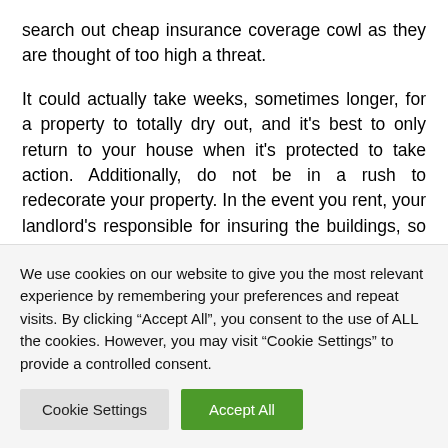search out cheap insurance coverage cowl as they are thought of too high a threat.
It could actually take weeks, sometimes longer, for a property to totally dry out, and it's best to only return to your house when it's protected to take action. Additionally, do not be in a rush to redecorate your property. In the event you rent, your landlord's responsible for insuring the buildings, so that you only need contents insurance coverage. The phrase home can be utilized for varied forms of residential community establishments in which
We use cookies on our website to give you the most relevant experience by remembering your preferences and repeat visits. By clicking "Accept All", you consent to the use of ALL the cookies. However, you may visit "Cookie Settings" to provide a controlled consent.